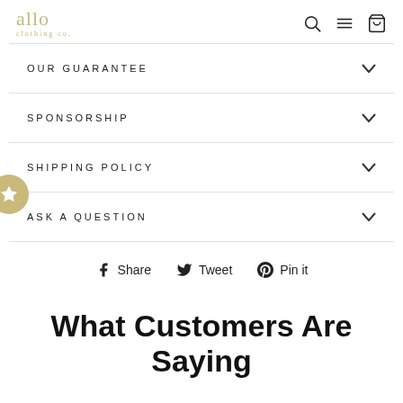allo clothing co.
OUR GUARANTEE
SPONSORSHIP
SHIPPING POLICY
ASK A QUESTION
Share  Tweet  Pin it
What Customers Are Saying